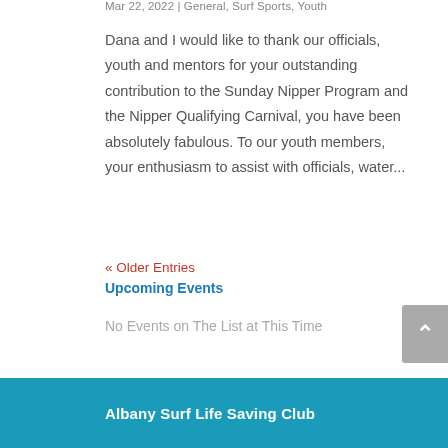Mar 22, 2022 | General, Surf Sports, Youth
Dana and I would like to thank our officials, youth and mentors for your outstanding contribution to the Sunday Nipper Program and the Nipper Qualifying Carnival, you have been absolutely fabulous. To our youth members, your enthusiasm to assist with officials, water...
« Older Entries
Upcoming Events
No Events on The List at This Time
Albany Surf Life Saving Club